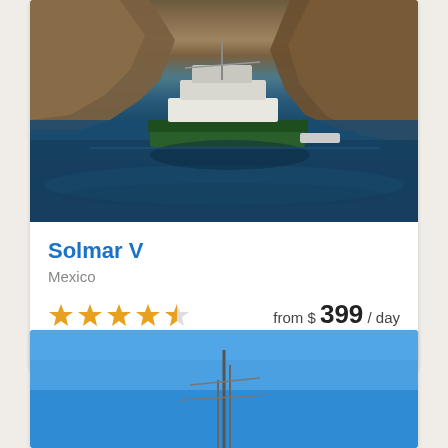[Figure (photo): Aerial view of the Solmar V dive boat on dark blue water with rocky brown cliffs in the background]
Solmar V
Mexico
★★★★½  from $ 399 / day  8.6 Fabulous  33 Reviews
[Figure (photo): Partial view of a sailboat mast against a bright blue sky]